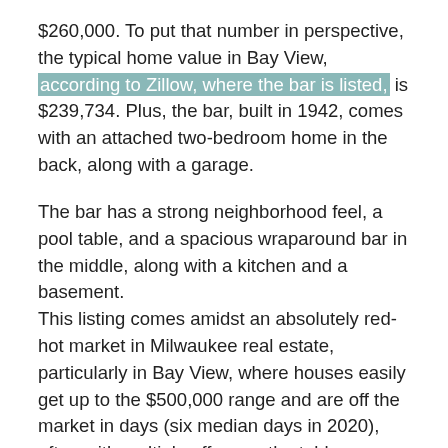$260,000. To put that number in perspective, the typical home value in Bay View, according to Zillow, where the bar is listed, is $239,734. Plus, the bar, built in 1942, comes with an attached two-bedroom home in the back, along with a garage.
The bar has a strong neighborhood feel, a pool table, and a spacious wraparound bar in the middle, along with a kitchen and a basement.
This listing comes amidst an absolutely red-hot market in Milwaukee real estate, particularly in Bay View, where houses easily get up to the $500,000 range and are off the market in days (six median days in 2020), often with multiple offers on the table.